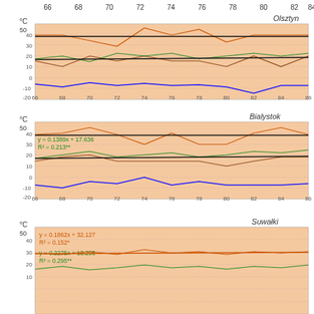[Figure (continuous-plot): Multi-line temperature chart for Olsztyn showing temperature trends from 1966 to ~1986. Lines represent max, mean max, mean, mean min, and min temperatures. Y-axis: -20 to 50°C. Background is salmon/orange shaded.]
[Figure (continuous-plot): Multi-line temperature chart for Bialystok showing temperature trends from 1966 to ~1986. Includes regression equations: y=0.1389x+17.636, R²=0.213**. Y-axis: -20 to 50°C.]
[Figure (continuous-plot): Multi-line temperature chart for Suwałki showing temperature trends from 1966 to ~1986. Includes regression equations: y=0.1862x+32.127, R²=0.152*, y=0.2275x+13.295, R²=0.295**. Y-axis partially shown -20 to 50°C.]